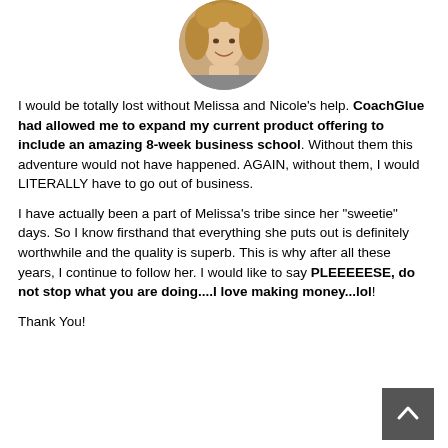[Figure (photo): Circular portrait photo of a woman with curly/wavy blonde hair, smiling, cropped at top of page]
I would be totally lost without Melissa and Nicole's help. CoachGlue had allowed me to expand my current product offering to include an amazing 8-week business school. Without them this adventure would not have happened. AGAIN, without them, I would LITERALLY have to go out of business.
I have actually been a part of Melissa's tribe since her "sweetie" days. So I know firsthand that everything she puts out is definitely worthwhile and the quality is superb. This is why after all these years, I continue to follow her. I would like to say PLEEEEESE, do not stop what you are doing....I love making money...lol!
Thank You!